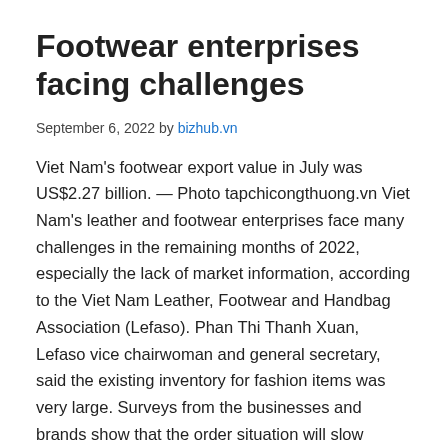Footwear enterprises facing challenges
September 6, 2022 by bizhub.vn
Viet Nam's footwear export value in July was US$2.27 billion. — Photo tapchicongthuong.vn Viet Nam's leather and footwear enterprises face many challenges in the remaining months of 2022, especially the lack of market information, according to the Viet Nam Leather, Footwear and Handbag Association (Lefaso). Phan Thi Thanh Xuan, Lefaso vice chairwoman and general secretary, said the existing inventory for fashion items was very large. Surveys from the businesses and brands show that the order situation will slow